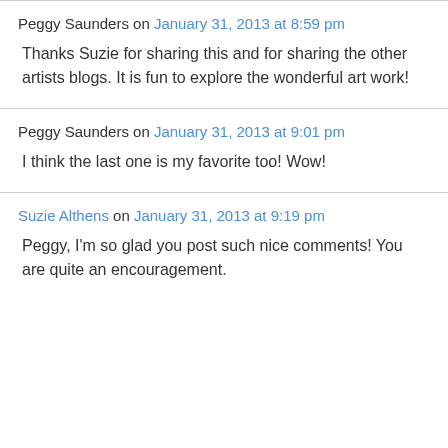Peggy Saunders on January 31, 2013 at 8:59 pm
Thanks Suzie for sharing this and for sharing the other artists blogs. It is fun to explore the wonderful art work!
Peggy Saunders on January 31, 2013 at 9:01 pm
I think the last one is my favorite too! Wow!
Suzie Althens on January 31, 2013 at 9:19 pm
Peggy, I'm so glad you post such nice comments! You are quite an encouragement.